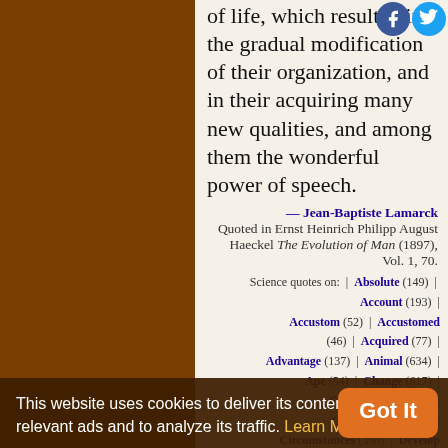of life, which resulted in the gradual modification of their organization, and in their acquiring many new qualities, and among them the wonderful power of speech.
— Jean-Baptiste Lamarck
Quoted in Ernst Heinrich Philipp August Haeckel The Evolution of Man (1897), Vol. 1, 70.
Science quotes on: | Absolute (149) | Account (193) | Accustom (52) | Accustomed (46) | Acquired (77) | Advantage (137) | Animal (634) | Ape (54) | Change (617) | Characteristic (152) | Circumstance (137) | Circumstances (398) | Develop (97) | Distinct (97) | Distinctive (25) | Easy (210) | Environment (621) | Family (96) | Former (137) | Gain (146) | Habit (172) | Human ...
This website uses cookies to deliver its content, to show relevant ads and to analyze its traffic. Learn More
Got It